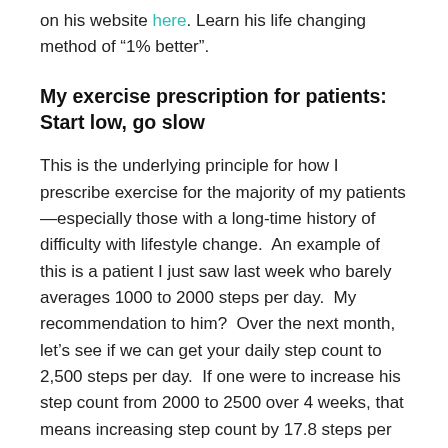on his website here. Learn his life changing method of “1% better”.
My exercise prescription for patients: Start low, go slow
This is the underlying principle for how I prescribe exercise for the majority of my patients—especially those with a long-time history of difficulty with lifestyle change.  An example of this is a patient I just saw last week who barely averages 1000 to 2000 steps per day.  My recommendation to him?  Over the next month, let’s see if we can get your daily step count to 2,500 steps per day.  If one were to increase his step count from 2000 to 2500 over 4 weeks, that means increasing step count by 17.8 steps per day.  One could easily take 17.8 steps by parking the car 5 parking spaces further